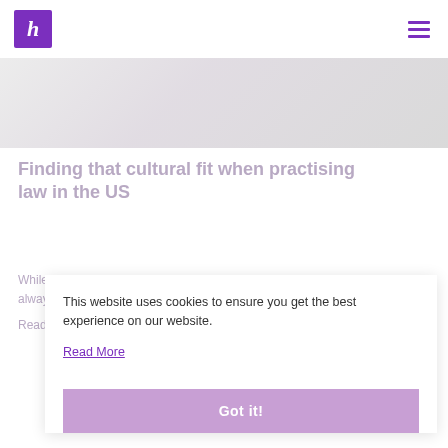[Figure (logo): Purple square logo with white italic 'h' letter]
[Figure (photo): Faded hero banner photo of people in a legal/office setting]
Finding that cultural fit when practising law in the US
While domestic and international relocation has always been a pou...
Read more
This website uses cookies to ensure you get the best experience on our website.
Read More
Got it!